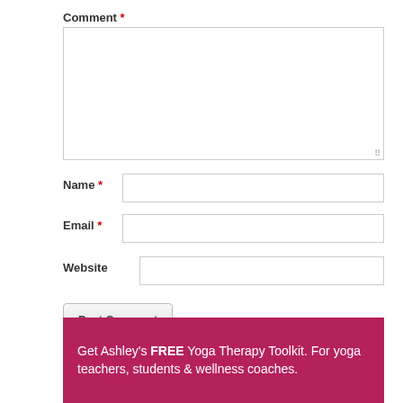Comment *
[Figure (screenshot): Comment text area input field, empty, with resize handle]
Name *
[Figure (screenshot): Name text input field, empty]
Email *
[Figure (screenshot): Email text input field, empty]
Website
[Figure (screenshot): Website text input field, empty]
Post Comment
Get Ashley's FREE Yoga Therapy Toolkit. For yoga teachers, students & wellness coaches.